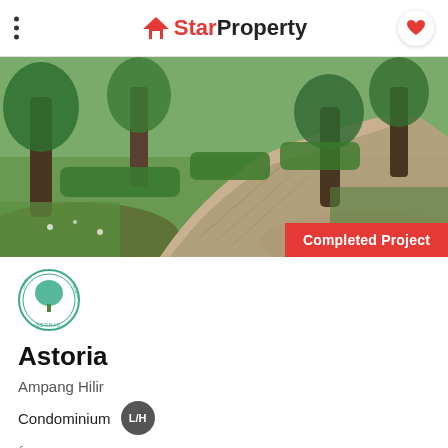StarProperty
[Figure (photo): Outdoor garden walkway with herringbone brick path, green lawn, trees and shrubs. Badge reads 'Completed Project'.]
[Figure (logo): Land & General Berhad circular developer logo with tree illustration]
Astoria
Ampang Hilir
Condominium  L/H
from
RM 494,000